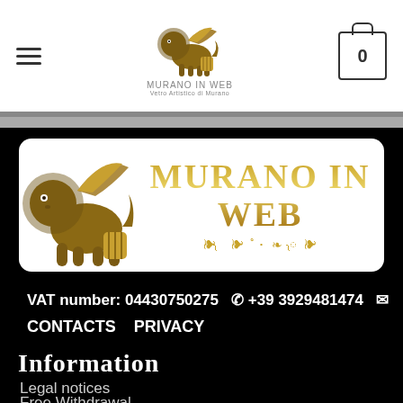[Figure (logo): Murano In Web logo with winged lion and text, top navigation bar with hamburger menu and cart icon showing 0]
[Figure (logo): Murano In Web banner with golden winged lion on left and golden text MURANO IN WEB with ornamental design on white rounded rectangle background]
VAT number: 04430750275  📞 +39 3929481474  ✉
CONTACTS   PRIVACY
INFORMATION
Legal notices
Free Withdrawal
Packaging
Shipping and Delivery